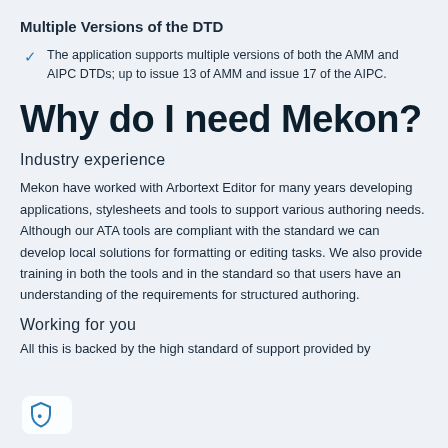Multiple Versions of the DTD
The application supports multiple versions of both the AMM and AIPC DTDs; up to issue 13 of AMM and issue 17 of the AIPC.
Why do I need Mekon?
Industry experience
Mekon have worked with Arbortext Editor for many years developing applications, stylesheets and tools to support various authoring needs. Although our ATA tools are compliant with the standard we can develop local solutions for formatting or editing tasks. We also provide training in both the tools and in the standard so that users have an understanding of the requirements for structured authoring.
Working for you
All this is backed by the high standard of support provided by